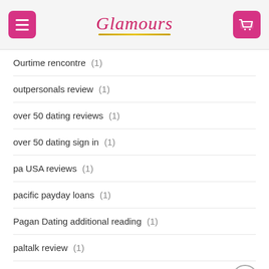Glamours
Ourtime rencontre (1)
outpersonals review (1)
over 50 dating reviews (1)
over 50 dating sign in (1)
pa USA reviews (1)
pacific payday loans (1)
Pagan Dating additional reading (1)
paltalk review (1)
pansexual dating review (1)
pansexual dating sign in (1)